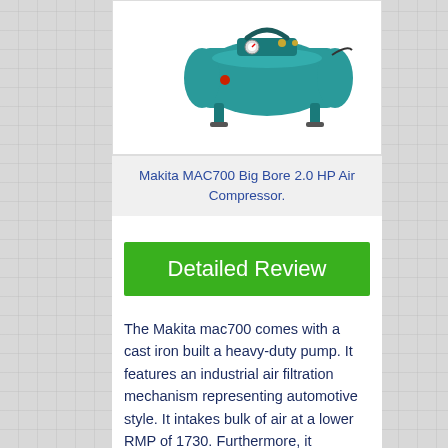[Figure (photo): Makita MAC700 Big Bore 2.0 HP Air Compressor product photo on white background]
Makita MAC700 Big Bore 2.0 HP Air Compressor.
Detailed Review
The Makita mac700 comes with a cast iron built a heavy-duty pump. It features an industrial air filtration mechanism representing automotive style. It intakes bulk of air at a lower RMP of 1730. Furthermore, it